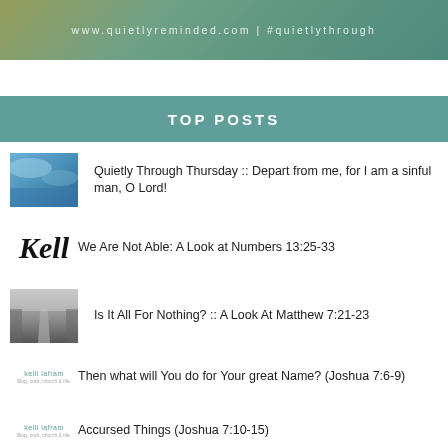www.quietlyreminded.com | #quietlythrough
TOP POSTS
[Figure (photo): Blue water/sky abstract photo thumbnail]
Quietly Through Thursday :: Depart from me, for I am a sinful man, O Lord!
[Figure (illustration): Kell cursive logo thumbnail]
We Are Not Able: A Look at Numbers 13:25-33
[Figure (photo): Road through fog photo thumbnail]
Is It All For Nothing? :: A Look At Matthew 7:21-23
[Figure (logo): Kelli LaFram blog logo thumbnail]
Then what will You do for Your great Name? (Joshua 7:6-9)
[Figure (logo): Kelli LaFram blog logo thumbnail]
Accursed Things (Joshua 7:10-15)